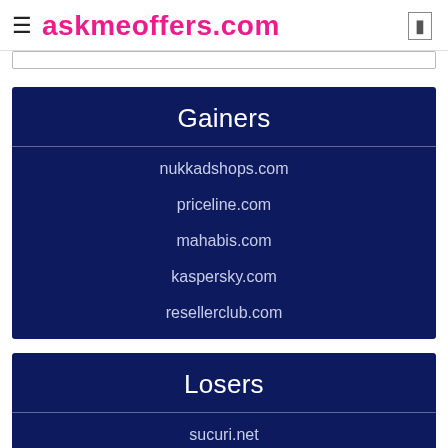askmeoffers.com
Gainers
nukkadshops.com
priceline.com
mahabis.com
kaspersky.com
resellerclub.com
Losers
sucuri.net
greenmangaming.com
jomashop.com